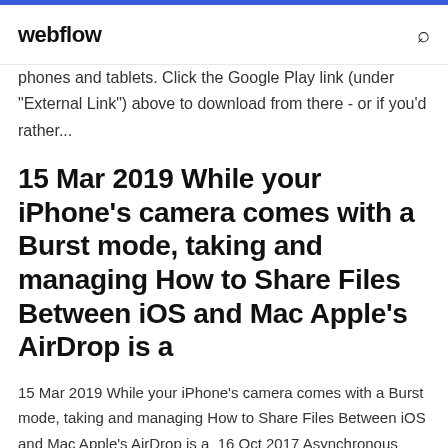webflow
phones and tablets. Click the Google Play link (under "External Link") above to download from there - or if you'd rather...
15 Mar 2019 While your iPhone's camera comes with a Burst mode, taking and managing How to Share Files Between iOS and Mac Apple's AirDrop is a
15 Mar 2019 While your iPhone's camera comes with a Burst mode, taking and managing How to Share Files Between iOS and Mac Apple's AirDrop is a  16 Oct 2017 Asynchronous copy